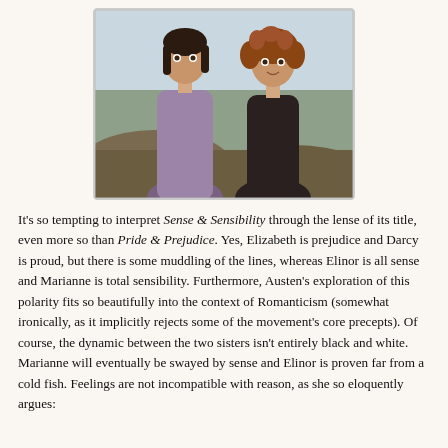[Figure (photo): Photograph of two women in Regency-era period costume, one with dark hair in a purple/lavender dress on the left, one with curly auburn hair in a dark dress on the right, posed outdoors with cliffs and sky in the background. Likely a still from a film or TV adaptation of Sense & Sensibility.]
It's so tempting to interpret Sense & Sensibility through the lense of its title, even more so than Pride & Prejudice. Yes, Elizabeth is prejudice and Darcy is proud, but there is some muddling of the lines, whereas Elinor is all sense and Marianne is total sensibility. Furthermore, Austen's exploration of this polarity fits so beautifully into the context of Romanticism (somewhat ironically, as it implicitly rejects some of the movement's core precepts). Of course, the dynamic between the two sisters isn't entirely black and white. Marianne will eventually be swayed by sense and Elinor is proven far from a cold fish. Feelings are not incompatible with reason, as she so eloquently argues: